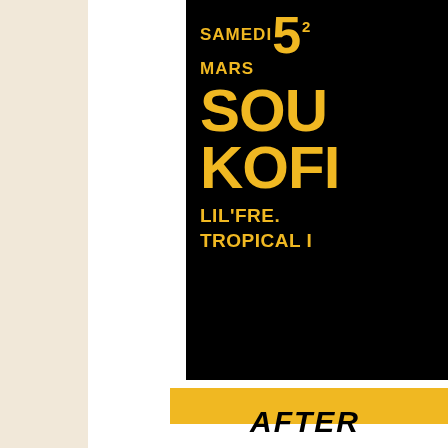[Figure (illustration): Event poster on black background with gold/yellow text: SAMEDI 5 MARS 21, SOU[l], KOFI[?], LIL'FRE[sh], TROPICAL [?]]
AFTER